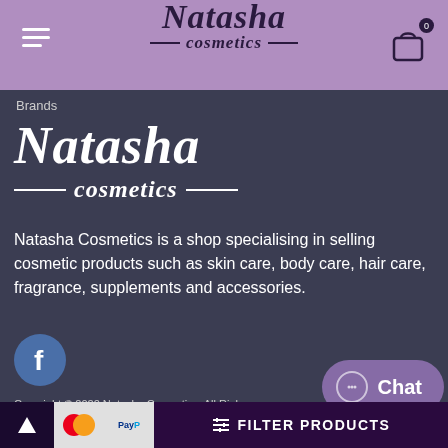Natasha cosmetics
Brands
[Figure (logo): Natasha cosmetics brand logo in white on dark background]
Natasha Cosmetics is a shop specialising in selling cosmetic products such as skin care, body care, hair care, fragrance, supplements and accessories.
[Figure (illustration): Facebook social media button - blue circle with white f logo]
Copyright © 2022 Natasha Cosmetics. All Rights Reserved. Created by NaNet Websites Ltd.
[Figure (other): Chat button with circle icon]
[Figure (other): Bottom bar with scroll-up arrow, Mastercard logo, PayPal logo, and Filter Products button]